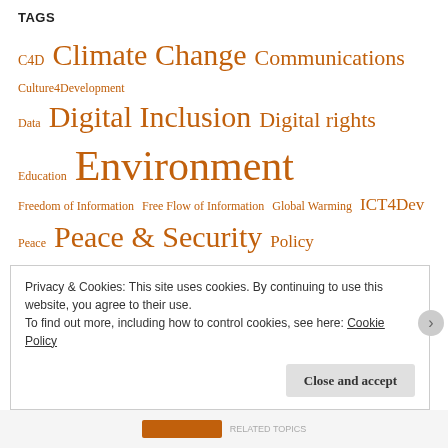TAGS
C4D Climate Change Communications Culture4Development Data Digital Inclusion Digital rights Education Environment Freedom of Information Free Flow of Information Global Warming ICT4Dev Peace Peace & Security Policy Policy & Advocacy Renewable Energy SDG16 Social Entrepreneurship Sustainable Development Volunteering Volunteerism Women Entrepreneurship Young Wallbreakers Youth Youth4Peace Youth Inclusion Youth on Development Youth Peacebuilding
Privacy & Cookies: This site uses cookies. By continuing to use this website, you agree to their use.
To find out more, including how to control cookies, see here: Cookie Policy
Close and accept